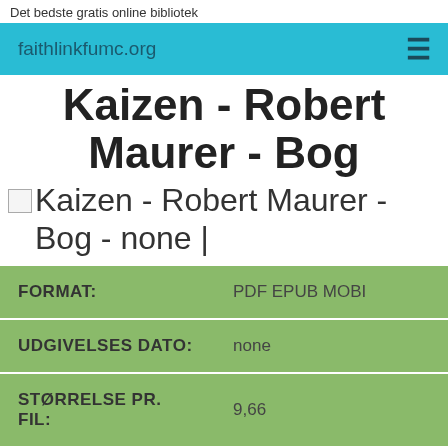Det bedste gratis online bibliotek
faithlinkfumc.org
Kaizen - Robert Maurer - Bog
[Figure (illustration): Broken image placeholder with alt text: Kaizen - Robert Maurer - Bog - none |]
| FORMAT: | PDF EPUB MOBI |
| --- | --- |
| UDGIVELSES DATO: | none |
| STØRRELSE PR. FIL: | 9,66 |